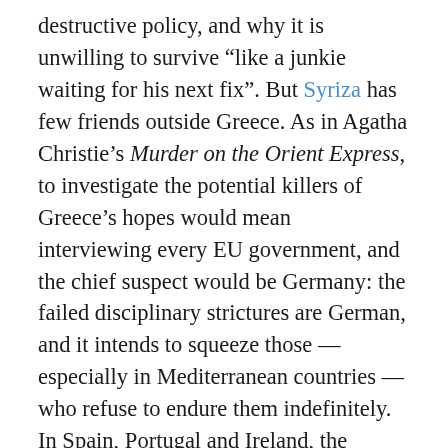destructive policy, and why it is unwilling to survive “like a junkie waiting for his next fix”. But Syriza has few friends outside Greece. As in Agatha Christie’s Murder on the Orient Express, to investigate the potential killers of Greece’s hopes would mean interviewing every EU government, and the chief suspect would be Germany: the failed disciplinary strictures are German, and it intends to squeeze those — especially in Mediterranean countries — who refuse to endure them indefinitely. In Spain, Portugal and Ireland, the governments’ motive for the crime is more sordid. Their citizens would benefit if the iron fist of austerity stopped pounding them. But their governments are afraid, especially when they feel threatened by a domestic challenge from the left, that Greece will demonstrate that it is possible to